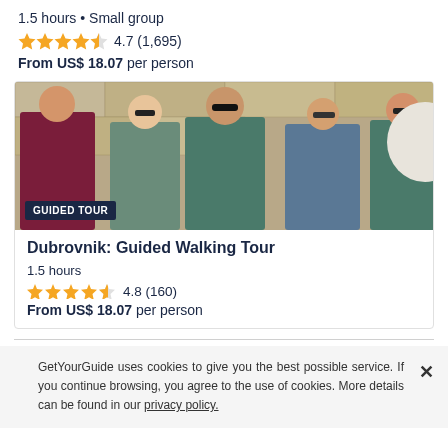1.5 hours • Small group
4.7 (1,695)
From US$ 18.07 per person
[Figure (photo): Group of tourists on a walking tour in Dubrovnik, with a guide speaking to several people including women wearing sunglasses, against a stone wall background. Badge reads GUIDED TOUR.]
Dubrovnik: Guided Walking Tour
1.5 hours
4.8 (160)
From US$ 18.07 per person
GetYourGuide uses cookies to give you the best possible service. If you continue browsing, you agree to the use of cookies. More details can be found in our privacy policy.